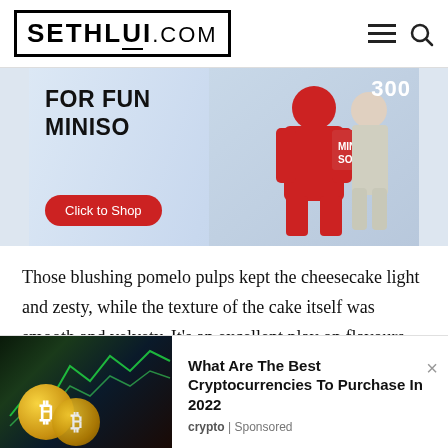SETHLUI.COM
[Figure (photo): MINISO advertisement banner showing 'FOR FUN MINISO' text with a woman in red outfit holding MINISO branded boxes, with a 'Click to Shop' red button]
Those blushing pomelo pulps kept the cheesecake light and zesty, while the texture of the cake itself was smooth and velvety. It's an excellent play on flavours and textures that will keep you back for more.
[Figure (photo): Sponsored ad card: Bitcoin cryptocurrency coins on dark background with green chart lines. Headline: 'What Are The Best Cryptocurrencies To Purchase In 2022'. Category: crypto | Sponsored]